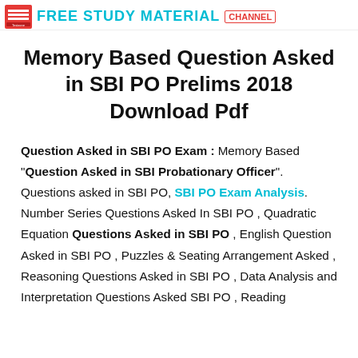FREE STUDY MATERIAL
Memory Based Question Asked in SBI PO Prelims 2018 Download Pdf
Question Asked in SBI PO Exam : Memory Based "Question Asked in SBI Probationary Officer". Questions asked in SBI PO, SBI PO Exam Analysis. Number Series Questions Asked In SBI PO , Quadratic Equation Questions Asked in SBI PO , English Question Asked in SBI PO , Puzzles & Seating Arrangement Asked , Reasoning Questions Asked in SBI PO , Data Analysis and Interpretation Questions Asked SBI PO , Reading